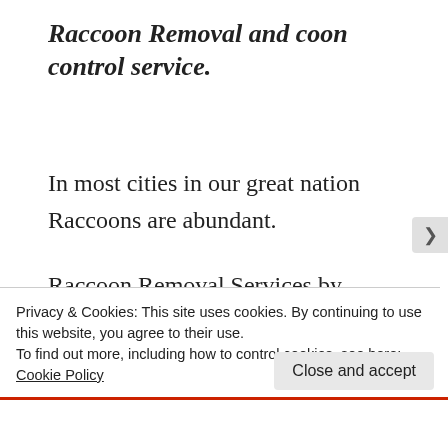Raccoon Removal and coon control service.
In most cities in our great nation Raccoons are abundant.

Raccoon Removal Services by raccoon removal experts are the key to raccoon removal for good. Raccoons have learned that the attics Chimneys and soffits (eaves)
Privacy & Cookies: This site uses cookies. By continuing to use this website, you agree to their use.
To find out more, including how to control cookies, see here: Cookie Policy
Close and accept